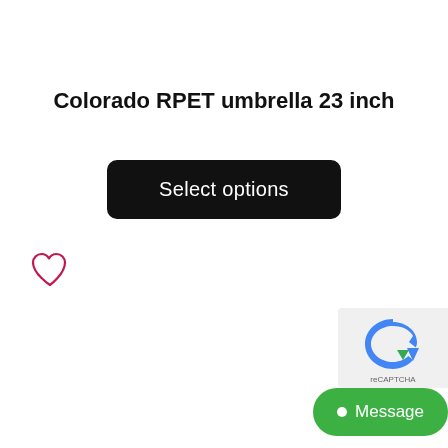Colorado RPET umbrella 23 inch
Select options
[Figure (illustration): Heart/wishlist icon outline in dark pink/crimson color]
[Figure (logo): reCAPTCHA logo widget in bottom right corner]
Message